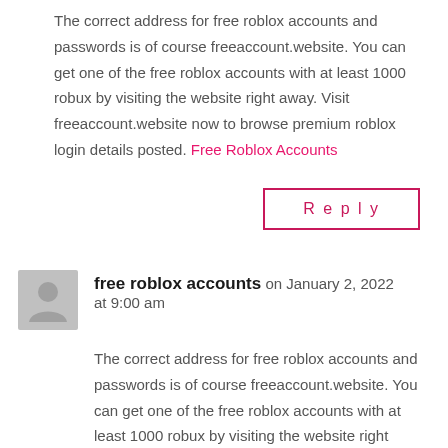The correct address for free roblox accounts and passwords is of course freeaccount.website. You can get one of the free roblox accounts with at least 1000 robux by visiting the website right away. Visit freeaccount.website now to browse premium roblox login details posted. Free Roblox Accounts
Reply
free roblox accounts on January 2, 2022 at 9:00 am
The correct address for free roblox accounts and passwords is of course freeaccount.website. You can get one of the free roblox accounts with at least 1000 robux by visiting the website right away.